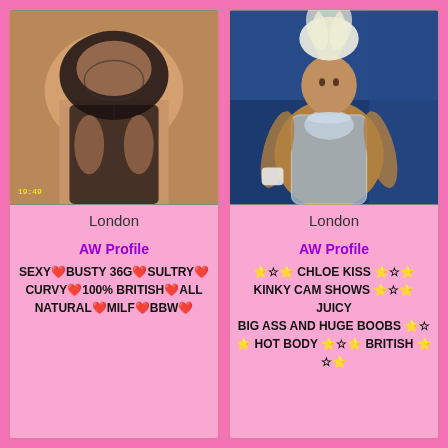[Figure (photo): Photo of person in black lace lingerie]
London
AW Profile
SEXY❤BUSTY 36G❤SULTRY❤CURVY❤100% BRITISH❤ALL NATURAL❤MILF❤BBW❤
[Figure (photo): Photo of person in sparkly showgirl costume with feather headpiece]
London
AW Profile
⭐☆⭐ CHLOE KISS ⭐☆⭐ KINKY CAM SHOWS ⭐☆⭐ JUICY BIG ASS AND HUGE BOOBS ⭐☆⭐ HOT BODY ⭐☆⭐ BRITISH ⭐☆⭐